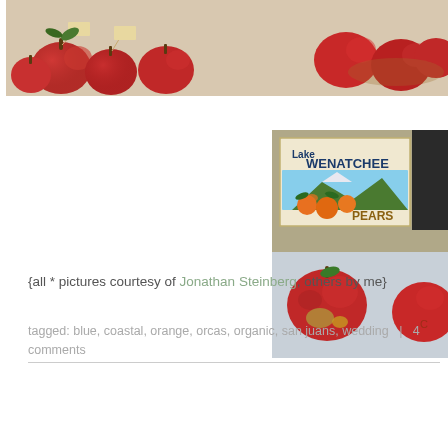[Figure (photo): Top photo showing red apples with tags/labels on a table surface, cropped at top of page]
[Figure (photo): Right-side photo showing a Lake Wenatchee Pears crate label with oranges/pears illustration, burlap fabric, and red apples in foreground]
{all * pictures courtesy of Jonathan Steinberg, others by me}
tagged: blue, coastal, orange, orcas, organic, san juans, wedding | 4 comments